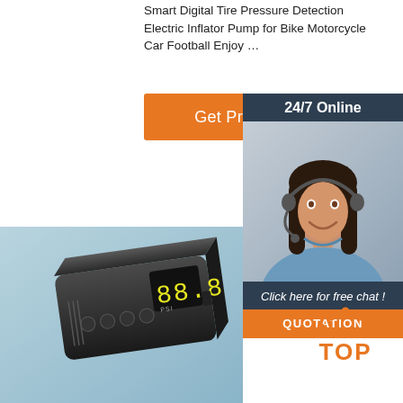Smart Digital Tire Pressure Detection Electric Inflator Pump for Bike Motorcycle Car Football Enjoy …
[Figure (other): Orange 'Get Price' button]
[Figure (other): 24/7 Online chat panel with customer service representative photo, 'Click here for free chat!' text, and orange QUOTATION button]
[Figure (photo): Black electric inflator pump with digital display on a light blue background]
[Figure (logo): Orange TOP badge/logo with dots in arc pattern]